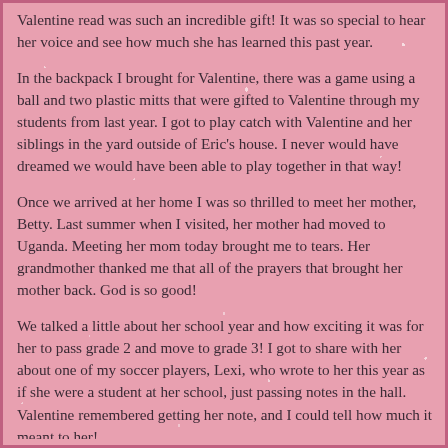Valentine read was such an incredible gift! It was so special to hear her voice and see how much she has learned this past year.
In the backpack I brought for Valentine, there was a game using a ball and two plastic mitts that were gifted to Valentine through my students from last year. I got to play catch with Valentine and her siblings in the yard outside of Eric's house. I never would have dreamed we would have been able to play together in that way!
Once we arrived at her home I was so thrilled to meet her mother, Betty. Last summer when I visited, her mother had moved to Uganda. Meeting her mom today brought me to tears. Her grandmother thanked me that all of the prayers that brought her mother back. God is so good!
We talked a little about her school year and how exciting it was for her to pass grade 2 and move to grade 3! I got to share with her about one of my soccer players, Lexi, who wrote to her this year as if she were a student at her school, just passing notes in the hall. Valentine remembered getting her note, and I could tell how much it meant to her!